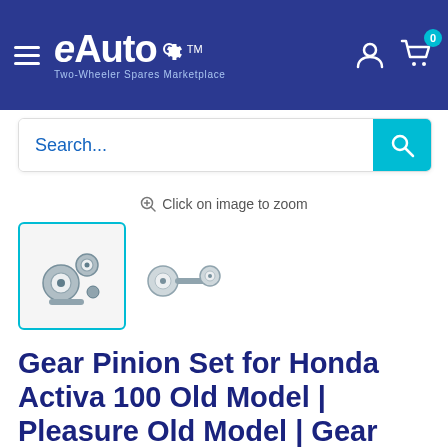eAuto TM — Two-Wheeler Spares Marketplace
Search...
Click on image to zoom
[Figure (photo): Two thumbnail images of a Gear Pinion Set. First thumbnail (selected, with cyan border) shows the gear pinion set from a front angle. Second thumbnail shows the gear and pinion parts arranged side by side.]
Gear Pinion Set for Honda Activa 100 Old Model | Pleasure Old Model | Gear Assembly